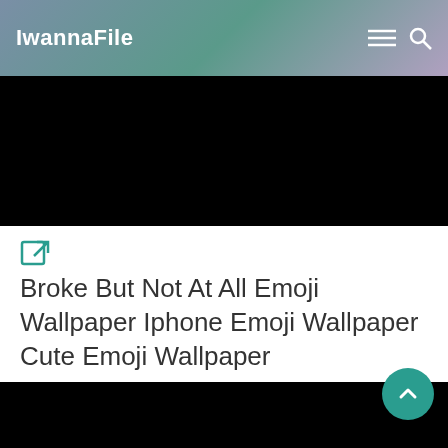IwannaFile
[Figure (photo): Black image placeholder at top of content area]
🔗
Broke But Not At All Emoji Wallpaper Iphone Emoji Wallpaper Cute Emoji Wallpaper
[Figure (photo): Black image placeholder at bottom of content area with teal scroll-to-top button]